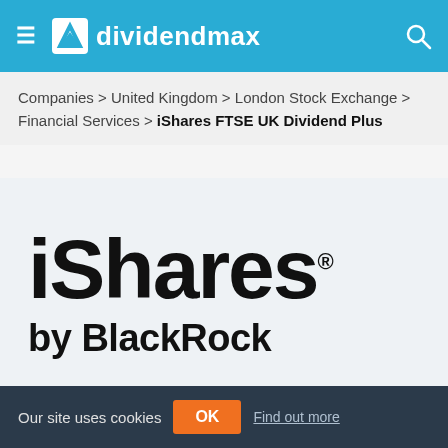dividendmax
Companies > United Kingdom > London Stock Exchange > Financial Services > iShares FTSE UK Dividend Plus
[Figure (logo): iShares by BlackRock logo — black bold 'iShares®' text with 'by BlackRock' below it, on a light grey/blue background]
iShares FTSE UK
Our site uses cookies
Find out more